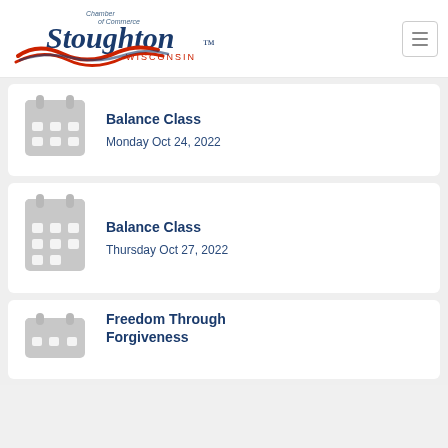[Figure (logo): Stoughton Chamber of Commerce Wisconsin logo with red wave swoosh and dark blue text]
Balance Class
Monday Oct 24, 2022
Balance Class
Thursday Oct 27, 2022
Freedom Through Forgiveness